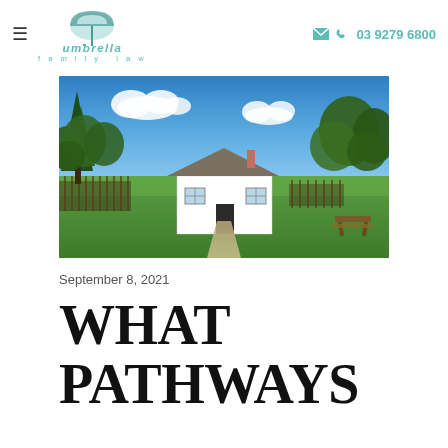umbrella family law | 03 9279 6800
[Figure (photo): A white single-story house with a dark roof, surrounded by large green trees under a bright blue sky with white clouds. A gravel path leads to the front door, with a picnic table visible on the right side.]
September 8, 2021
WHAT PATHWAYS